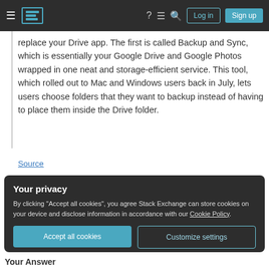Stack Exchange navigation bar with hamburger menu, logo, help, chat, search icons, Log in and Sign up buttons
replace your Drive app. The first is called Backup and Sync, which is essentially your Google Drive and Google Photos wrapped in one neat and storage-efficient service. This tool, which rolled out to Mac and Windows users back in July, lets users choose folders that they want to backup instead of having to place them inside the Drive folder.
Source
Your privacy
By clicking "Accept all cookies", you agree Stack Exchange can store cookies on your device and disclose information in accordance with our Cookie Policy.
Accept all cookies
Customize settings
Your Answer